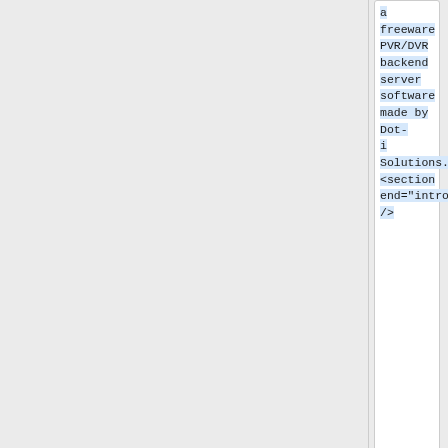a freeware PVR/DVR backend server software made by Dot-i Solutions. <section end="intro"/>
+
Please refer to '''[http://www.argus-tv.com/wiki/index.php?title=Kodi_with_PVR_Support ARGUS TV Wiki